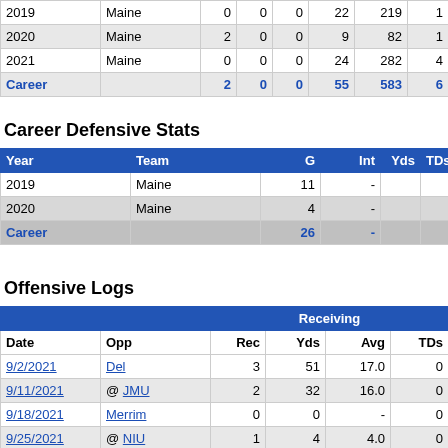| Year | Team | G | Int | Yds | TDs |
| --- | --- | --- | --- | --- | --- |
| 2019 | Maine | 0 | 0 | 0 | 22 | 219 | 1 |
| 2020 | Maine | 2 | 0 | 0 | 9 | 82 | 1 |
| 2021 | Maine | 0 | 0 | 0 | 24 | 282 | 4 |
| Career |  | 2 | 0 | 0 | 55 | 583 | 6 |
Career Defensive Stats
| Year | Team | G | Int | Yds | TDs |
| --- | --- | --- | --- | --- | --- |
| 2019 | Maine | 11 | - |  |  |
| 2020 | Maine | 4 | - |  |  |
| Career |  | 26 | - |  |  |
Offensive Logs
| Date | Opp | Rec | Yds | Avg | TDs |
| --- | --- | --- | --- | --- | --- |
| 9/2/2021 | Del | 3 | 51 | 17.0 | 0 |
| 9/11/2021 | @ JMU | 2 | 32 | 16.0 | 0 |
| 9/18/2021 | Merrim | 0 | 0 | - | 0 |
| 9/25/2021 | @ NIU | 1 | 4 | 4.0 | 0 |
| 10/9/2021 | Elon | 6 | 59 | 9.8 | 1 |
| 10/16/2021 | W&M | 3 | 36 | 12.0 |  |